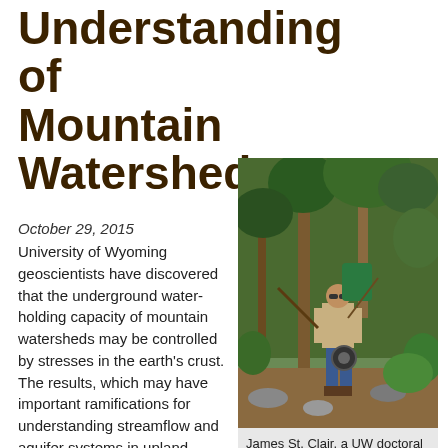Understanding of Mountain Watersheds
October 29, 2015
University of Wyoming geoscientists have discovered that the underground water-holding capacity of mountain watersheds may be controlled by stresses in the earth's crust. The results, which may have important ramifications for understanding streamflow and aquifer systems in upland watersheds, appears Oct. 30 in Science, one of the world's leading
[Figure (photo): A person carrying a large green container on their back, standing in a mountainous forested area with trees and rocky terrain.]
James St. Clair, a UW doctoral student, is the lead author on a Science paper that discovers the distribution of porosity in the subsurface of mountain